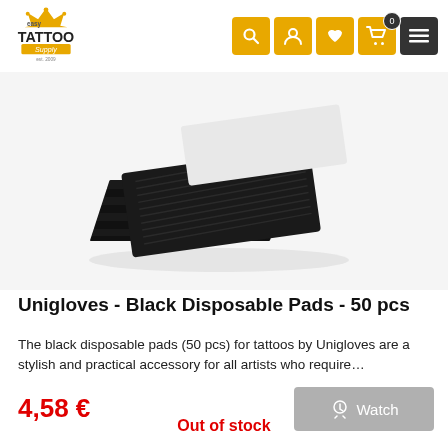[Figure (logo): Easy Tattoo Supply logo with crown icon, est. 2009]
[Figure (photo): Stack of black disposable pads (50 pcs) by Unigloves, photographed on white background]
Unigloves - Black Disposable Pads - 50 pcs
The black disposable pads (50 pcs) for tattoos by Unigloves are a stylish and practical accessory for all artists who require…
4,58 €
Out of stock